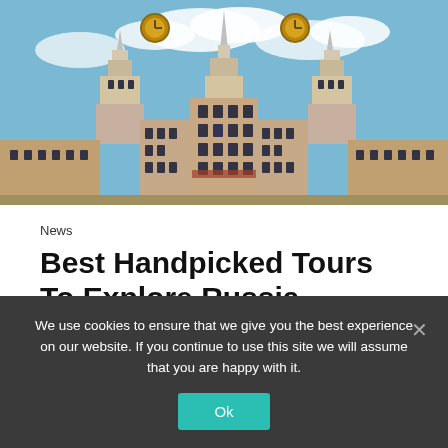[Figure (photo): Photograph of a grand Russian-style building (Moscow State University or similar Stalin-era skyscraper) with ornate towers, clock faces, and a blue sky with clouds]
News
Best Handpicked Tours To Explore Russia
May 24, 2021    anastasia
Guided tours of Moscow in English In case you are trying to plan a perfect
We use cookies to ensure that we give you the best experience on our website. If you continue to use this site we will assume that you are happy with it.